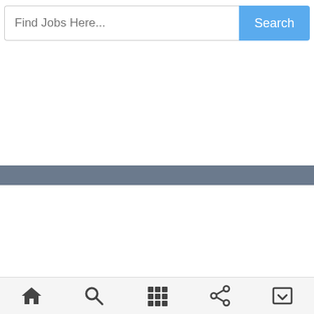[Figure (screenshot): Search bar with placeholder text 'Find Jobs Here...' and a blue 'Search' button on the right]
[Figure (screenshot): Mobile app navigation bar with home, search, grid, share, and screen/window icons]